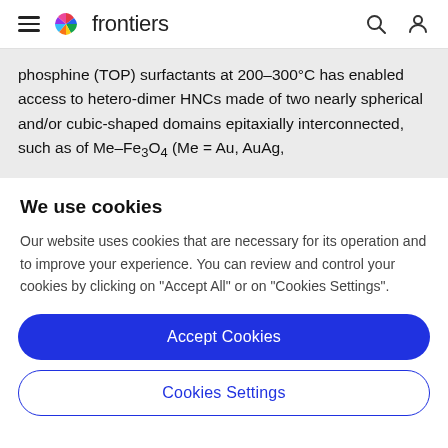frontiers
phosphine (TOP) surfactants at 200–300°C has enabled access to hetero-dimer HNCs made of two nearly spherical and/or cubic-shaped domains epitaxially interconnected, such as of Me–Fe3O4 (Me = Au, AuAg,
We use cookies
Our website uses cookies that are necessary for its operation and to improve your experience. You can review and control your cookies by clicking on "Accept All" or on "Cookies Settings".
Accept Cookies
Cookies Settings